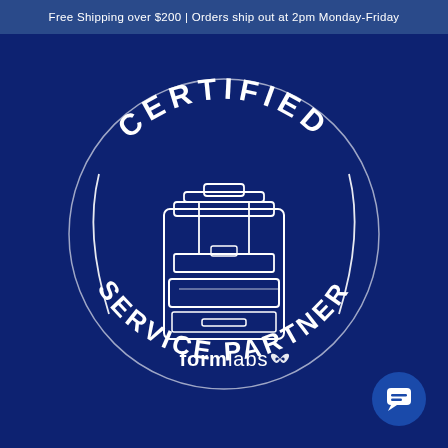Free Shipping over $200 | Orders ship out at 2pm Monday-Friday
[Figure (logo): Formlabs Certified Service Partner badge. A circular badge on a dark navy blue background. The top arc reads 'CERTIFIED' in white capital letters. The bottom arc reads 'SERVICE PARTNER' in white capital letters. In the center is a white line-art illustration of a Formlabs 3D printer (SLA/MSLA type). Below the printer illustration is the text 'formlabs' in white with a small butterfly/wing logo icon. Two curved white lines frame the left and right sides of the circle interior.]
[Figure (other): Chat button icon — a circular dark blue button in the bottom-right corner containing a white chat bubble icon.]